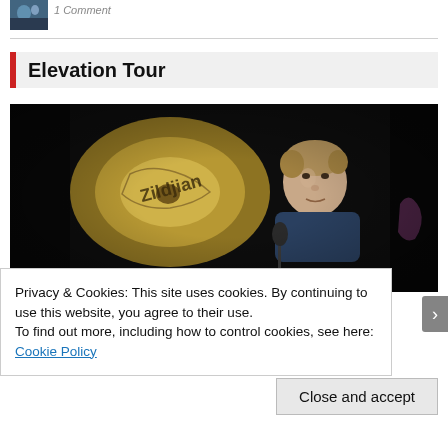[Figure (photo): Small thumbnail photo showing a person at an event]
1 comment
Elevation Tour
[Figure (photo): Concert/backstage photo of a drummer (male, short hair) behind a cymbal in dark lighting with golden tones]
Privacy & Cookies: This site uses cookies. By continuing to use this website, you agree to their use.
To find out more, including how to control cookies, see here: Cookie Policy
Close and accept